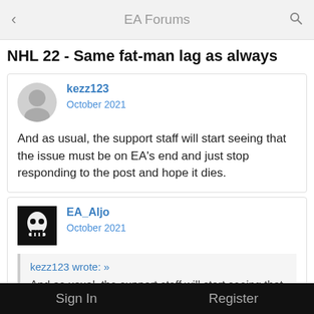EA Forums
NHL 22 - Same fat-man lag as always
kezz123
October 2021

And as usual, the support staff will start seeing that the issue must be on EA's end and just stop responding to the post and hope it dies.
EA_Aljo
October 2021

kezz123 wrote: »
And as usual, the support staff will start seeing that the issue must be on EA's end and just stop responding to the post and hope it dies.
Sign In    Register